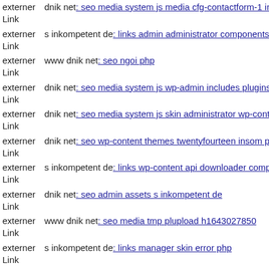externer Link  dnik net: seo media system js media cfg-contactform-1 inc
externer Link  s inkompetent de: links admin administrator components dr
externer Link  www dnik net: seo ngoi php
externer Link  dnik net: seo media system js wp-admin includes plugins co
externer Link  dnik net: seo media system js skin administrator wp-conten
externer Link  dnik net: seo wp-content themes twentyfourteen insom php
externer Link  s inkompetent de: links wp-content api downloader compone
externer Link  dnik net: seo admin assets s inkompetent de
externer Link  www dnik net: seo media tmp plupload h1643027850
externer Link  s inkompetent de: links manager skin error php
externer Link  s inkompetent de: links administrator images stories dnik ne